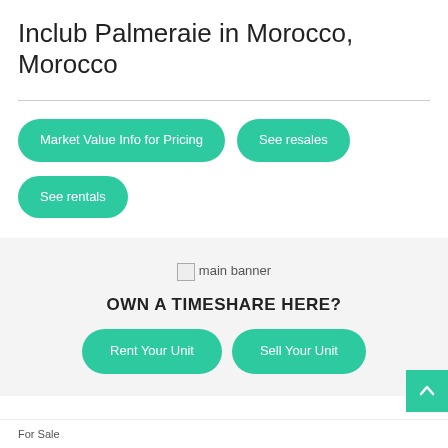Inclub Palmeraie in Morocco, Morocco
Market Value Info for Pricing
See resales
See rentals
[Figure (photo): main banner image (broken/unloaded)]
OWN A TIMESHARE HERE?
Rent Your Unit
Sell Your Unit
For Sale